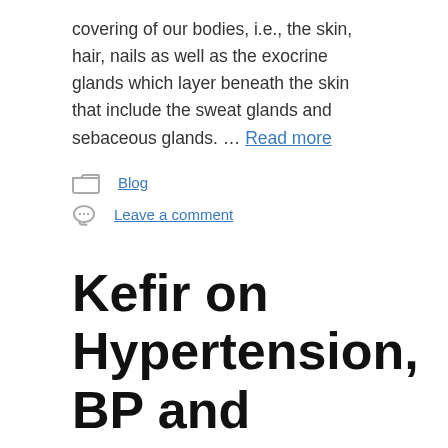covering of our bodies, i.e., the skin, hair, nails as well as the exocrine glands which layer beneath the skin that include the sweat glands and sebaceous glands. … Read more
Blog
Leave a comment
Kefir on Hypertension, BP and Cardiovascular Diseases
November 20, 2020 by admin